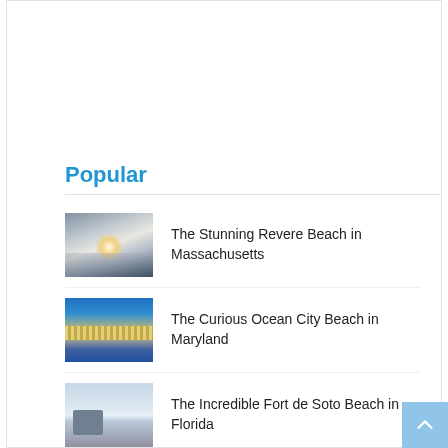Popular
The Stunning Revere Beach in Massachusetts
The Curious Ocean City Beach in Maryland
The Incredible Fort de Soto Beach in Florida